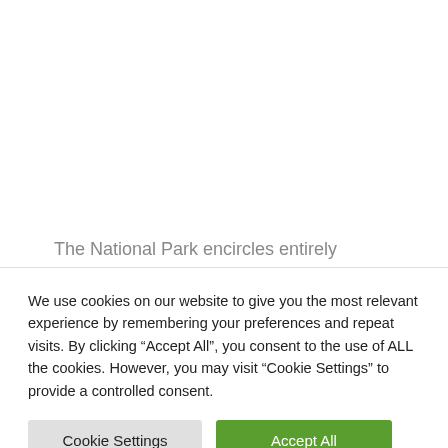The National Park encircles entirely
We use cookies on our website to give you the most relevant experience by remembering your preferences and repeat visits. By clicking “Accept All”, you consent to the use of ALL the cookies. However, you may visit "Cookie Settings" to provide a controlled consent.
Cookie Settings
Accept All